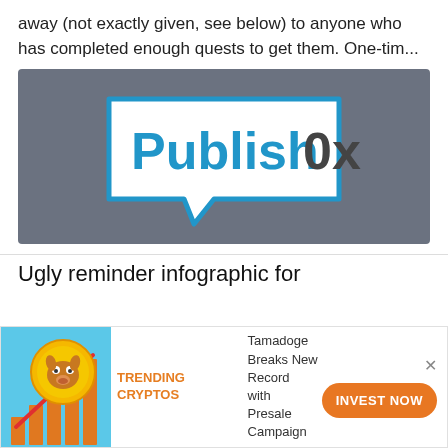away (not exactly given, see below) to anyone who has completed enough quests to get them. One-tim...
[Figure (logo): PublishOx logo — white speech bubble with blue outline on dark gray background, with 'Publish0x' text in blue and dark gray]
Ugly reminder infographic for
[Figure (infographic): Advertisement banner showing a Shiba Inu dog coin with upward chart arrow, 'TRENDING CRYPTOS' in orange text, Tamadoge Breaks New Record with Presale Campaign text, and INVEST NOW orange pill button with an X close button]